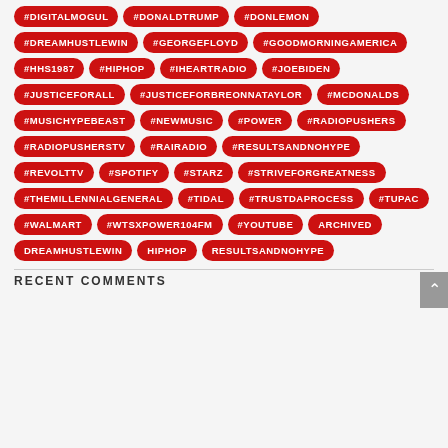#DIGITALMOGUL
#DONALDTRUMP
#DONLEMON
#DREAMHUSTLEWIN
#GEORGEFLOYD
#GOODMORNINGAMERICA
#HHS1987
#HIPHOP
#IHEARTRADIO
#JOEBIDEN
#JUSTICEFORALL
#JUSTICEFORBREONNATAYLOR
#MCDONALDS
#MUSICHYPEBEAST
#NEWMUSIC
#POWER
#RADIOPUSHERS
#RADIOPUSHERSTV
#RAIRADIO
#RESULTSANDNOHYPE
#REVOLTTV
#SPOTIFY
#STARZ
#STRIVEFORGREATNESS
#THEMILLENNIALGENERAL
#TIDAL
#TRUSTDAPROCESS
#TUPAC
#WALMART
#WTSXPOWER104FM
#YOUTUBE
ARCHIVED
DREAMHUSTLEWIN
HIPHOP
RESULTSANDNOHYPE
RECENT COMMENTS